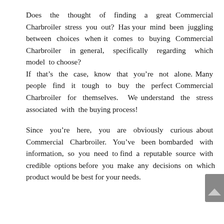Does the thought of finding a great Commercial Charbroiler stress you out? Has your mind been juggling between choices when it comes to buying Commercial Charbroiler in general, specifically regarding which model to choose? If that’s the case, know that you’re not alone. Many people find it tough to buy the perfect Commercial Charbroiler for themselves. We understand the stress associated with the buying process!
Since you’re here, you are obviously curious about Commercial Charbroiler. You’ve been bombarded with information, so you need to find a reputable source with credible options before you make any decisions on which product would be best for your needs.